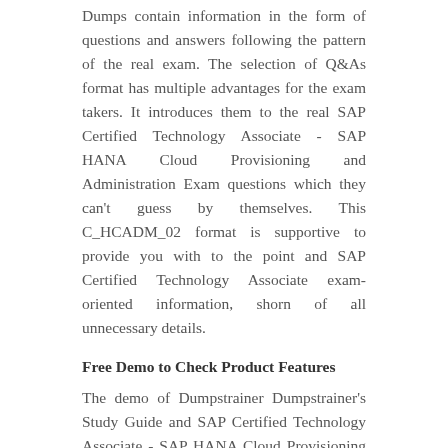Dumps contain information in the form of questions and answers following the pattern of the real exam. The selection of Q&As format has multiple advantages for the exam takers. It introduces them to the real SAP Certified Technology Associate - SAP HANA Cloud Provisioning and Administration Exam questions which they can't guess by themselves. This C_HCADM_02 format is supportive to provide you with to the point and SAP Certified Technology Associate exam-oriented information, shorn of all unnecessary details.
Free Demo to Check Product Features
The demo of Dumpstrainer Dumpstrainer's Study Guide and SAP Certified Technology Associate - SAP HANA Cloud Provisioning and Administration Exam Dumps is to help you